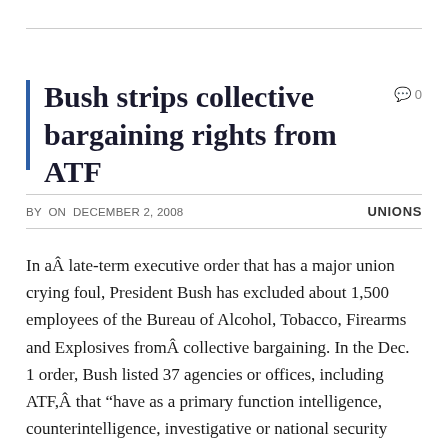Bush strips collective bargaining rights from ATF
BY ON DECEMBER 2, 2008
UNIONS
In aÂ late-term executive order that has a major union crying foul, President Bush has excluded about 1,500 employees of the Bureau of Alcohol, Tobacco, Firearms and Explosives fromÂ collective bargaining. In the Dec. 1 order, Bush listed 37 agencies or offices, including ATF,Â that “have as a primary function intelligence, counterintelligence, investigative or national security work.” National security requirements mean employees at those agencies cannot have collective bargaining rights, Bush said. The National Treasury Employees Union, which represents